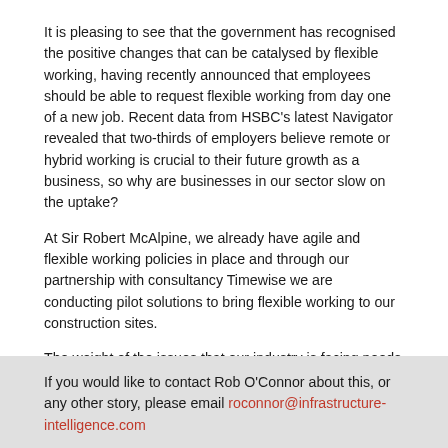It is pleasing to see that the government has recognised the positive changes that can be catalysed by flexible working, having recently announced that employees should be able to request flexible working from day one of a new job. Recent data from HSBC's latest Navigator revealed that two-thirds of employers believe remote or hybrid working is crucial to their future growth as a business, so why are businesses in our sector slow on the uptake?
At Sir Robert McAlpine, we already have agile and flexible working policies in place and through our partnership with consultancy Timewise we are conducting pilot solutions to bring flexible working to our construction sites.
The weight of the issues that our industry is facing needs cross-industry support for these movements to enact real change. It's time to seize this opportunity and embrace the transformative abilities of flexible working.
Paul Hamer is CEO of Sir Robert McAlpine.
If you would like to contact Rob O'Connor about this, or any other story, please email roconnor@infrastructure-intelligence.com